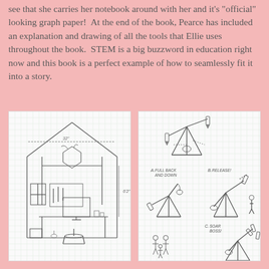see that she carries her notebook around with her and it's "official" looking graph paper! At the end of the book, Pearce has included an explanation and drawing of all the tools that Ellie uses throughout the book. STEM is a big buzzword in education right now and this book is a perfect example of how to seamlessly fit it into a story.
[Figure (illustration): Hand-drawn sketch on graph paper showing the interior of a house-shaped workshop/studio space. The drawing shows a peaked roof structure labeled '32"', a desk with computer monitor, tools on a pegboard, plants, a stool, and various craft supplies. Height is labeled '6'2"'.]
[Figure (illustration): Hand-drawn sketch on graph paper showing a series of engineering/construction diagrams labeled A, B, and C. Shows stick figure catapult or trebuchet mechanisms in three stages, with labels 'A. FULL BACK AND DOWN', 'B. RELEASE!', 'C. SOAR BOSS!'. Small stick figures shown for scale.]